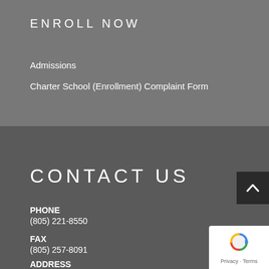ENROLL NOW
Admissions
Charter School (Enrollment) Complaint Form
CONTACT US
PHONE
(805) 221-8550
FAX
(805) 257-8091
ADDRESS